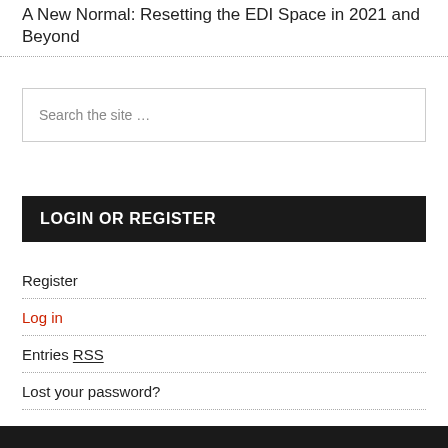A New Normal: Resetting the EDI Space in 2021 and Beyond
Search the site …
LOGIN OR REGISTER
Register
Log in
Entries RSS
Lost your password?